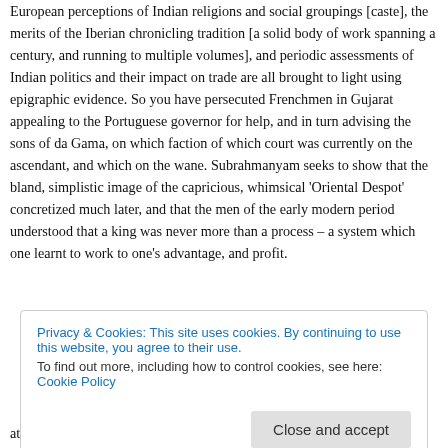European perceptions of Indian religions and social groupings [caste], the merits of the Iberian chronicling tradition [a solid body of work spanning a century, and running to multiple volumes], and periodic assessments of Indian politics and their impact on trade are all brought to light using epigraphic evidence. So you have persecuted Frenchmen in Gujarat appealing to the Portuguese governor for help, and in turn advising the sons of da Gama, on which faction of which court was currently on the ascendant, and which on the wane. Subrahmanyam seeks to show that the bland, simplistic image of the capricious, whimsical 'Oriental Despot' concretized much later, and that the men of the early modern period understood that a king was never more than a process – a system which one learnt to work to one's advantage, and profit.
Privacy & Cookies: This site uses cookies. By continuing to use this website, you agree to their use. To find out more, including how to control cookies, see here: Cookie Policy
at hand. To thus try and judge a writer from an earlier era using